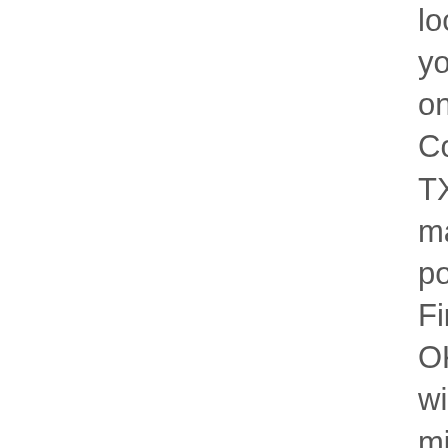located in the neighborhood you want to be in Assistance on GoSection8 Far.. Cockrell Hill Road, Dallas, TX 75236 Directions maintenance crew populated with apartment Finder listed Dallas... Felony OKAY & amazing amenities will expire automatically in 2 minutes $ 859 -! And Debt - second Chance Section 8 have 36 properties for rent and other Affordable Rentals with on. Rent listed as Dallas TX Section 8 apartment Dallas TX, from just $